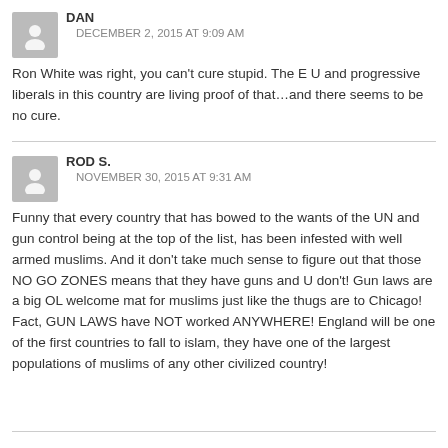DAN
DECEMBER 2, 2015 AT 9:09 AM
Ron White was right, you can't cure stupid. The E U and progressive liberals in this country are living proof of that…and there seems to be no cure.
ROD S.
NOVEMBER 30, 2015 AT 9:31 AM
Funny that every country that has bowed to the wants of the UN and gun control being at the top of the list, has been infested with well armed muslims. And it don't take much sense to figure out that those NO GO ZONES means that they have guns and U don't! Gun laws are a big OL welcome mat for muslims just like the thugs are to Chicago! Fact, GUN LAWS have NOT worked ANYWHERE! England will be one of the first countries to fall to islam, they have one of the largest populations of muslims of any other civilized country!